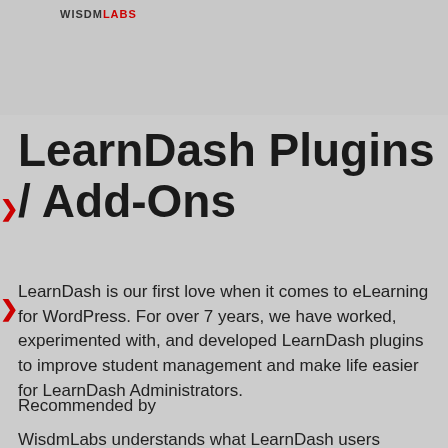WISDMLABS
LearnDash Plugins & Add-Ons
LearnDash is our first love when it comes to eLearning for WordPress. For over 7 years, we have worked, experimented with, and developed LearnDash plugins to improve student management and make life easier for LearnDash Administrators.
Recommended by
WisdmLabs understands what LearnDash users